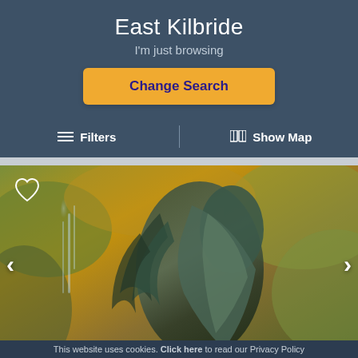East Kilbride
I'm just browsing
Change Search
≡  Filters
⊞  Show Map
[Figure (photo): A bronze or verdigris-patinated sculpture of a figure, possibly a mermaid or mythological figure, with water fountain spray visible in the background, set against autumn-colored hedges.]
This website uses cookies. Click here to read our Privacy Policy